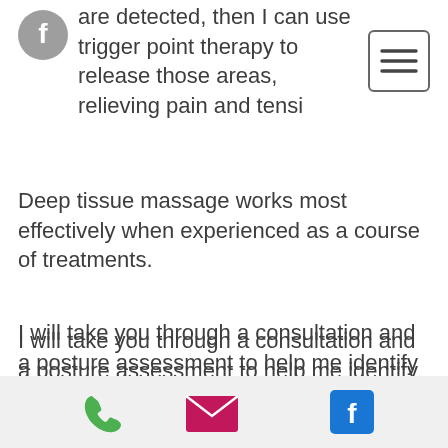[Figure (logo): Facebook logo icon, grey circle with white f]
[Figure (other): Hamburger menu button with three horizontal lines inside a rounded rectangle border]
are detected, then I can use trigger point therapy to release those areas, relieving pain and tensi
Deep tissue massage works most effectively when experienced as a course of treatments.
I will take you through a consultation and a posture assessment to help me identify specific areas that are causing pain and tension and that require treatment.
Deep tissue massage can be beneficial for a wide range of issues, including:
[Figure (other): Bottom navigation bar with phone icon (green), email icon (magenta envelope), and Facebook icon (blue)]